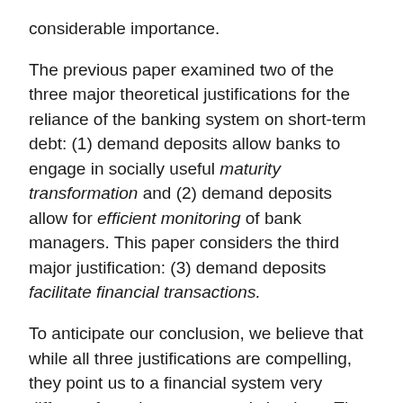considerable importance.
The previous paper examined two of the three major theoretical justifications for the reliance of the banking system on short-term debt: (1) demand deposits allow banks to engage in socially useful maturity transformation and (2) demand deposits allow for efficient monitoring of bank managers. This paper considers the third major justification: (3) demand deposits facilitate financial transactions.
To anticipate our conclusion, we believe that while all three justifications are compelling, they point us to a financial system very different from the one currently in place. The first two justifications suggest that it is important to have institutions that finance long-term assets with short-term debt, but we have argued that the assets that are so funded should not have close